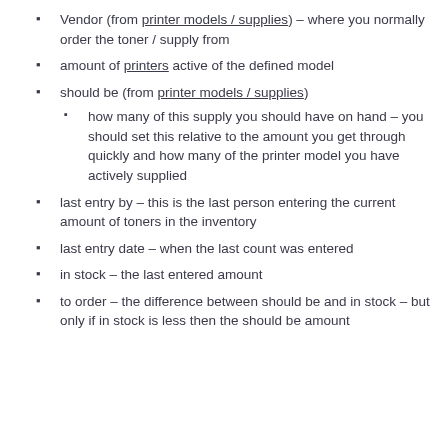Vendor (from printer models / supplies) – where you normally order the toner / supply from
amount of printers active of the defined model
should be (from printer models / supplies)
how many of this supply you should have on hand – you should set this relative to the amount you get through quickly and how many of the printer model you have actively supplied
last entry by – this is the last person entering the current amount of toners in the inventory
last entry date – when the last count was entered
in stock – the last entered amount
to order – the difference between should be and in stock – but only if in stock is less then the should be amount